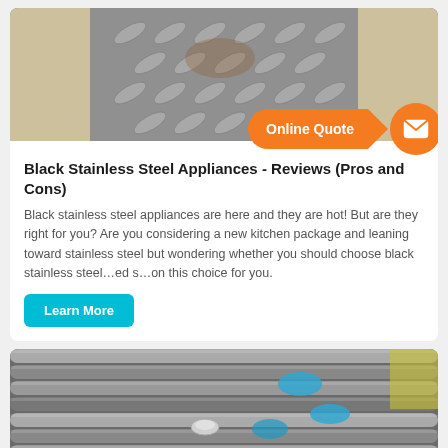[Figure (photo): Diamond plate steel sheet wrapped in wood crating, viewed from above]
Black Stainless Steel Appliances - Reviews (Pros and Cons)
Black stainless steel appliances are here and they are hot! But are they right for you? Are you considering a new kitchen package and leaning toward stainless steel but wondering whether you should choose black stainless steel...ed s...on this choice for you.
[Figure (other): Online Quote call-to-action button with orange speech bubble and mail icon circle]
[Figure (photo): Stainless steel rods/bars with blue cloth padding, photographed close up]